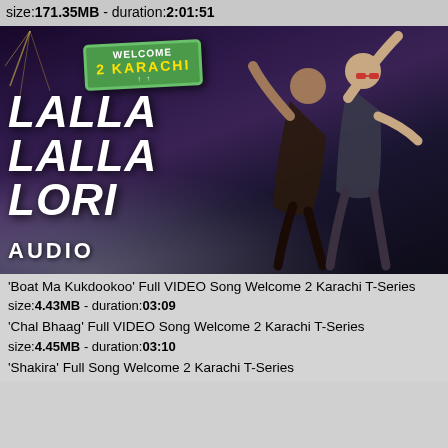size:171.35MB - duration:2:01:51
[Figure (screenshot): Movie song thumbnail for 'Lalla Lalla Lori' from Welcome 2 Karachi. Shows a green sign board reading 'WELCOME 2 KARACHI', large white text 'LALLA LALLA LORI', two dancers (male and female), and 'AUDIO' label at bottom left.]
'Boat Ma Kukdookoo' Full VIDEO Song Welcome 2 Karachi T-Series
size:4.43MB - duration:03:09
'Chal Bhaag' Full VIDEO Song Welcome 2 Karachi T-Series
size:4.45MB - duration:03:10
'Shakira' Full Song Welcome 2 Karachi T-Series